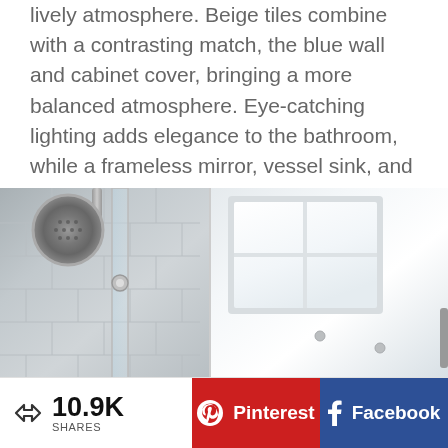lively atmosphere. Beige tiles combine with a contrasting match, the blue wall and cabinet cover, bringing a more balanced atmosphere. Eye-catching lighting adds elegance to the bathroom, while a frameless mirror, vessel sink, and steel accessories complete this bathroom.
[Figure (photo): Composite bathroom photo: left side shows a rainfall shower head with chrome fixtures and white subway tiles behind glass enclosure; right side shows a skylight window with white ceiling, taken from below looking up.]
10.9K SHARES  Pinterest  Facebook